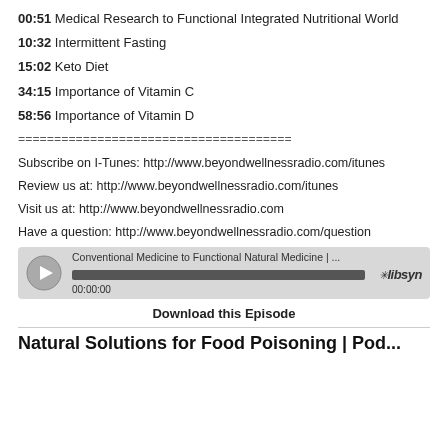00:51  Medical Research to Functional Integrated Nutritional World
10:32  Intermittent Fasting
15:02  Keto Diet
34:15  Importance of Vitamin C
58:56  Importance of Vitamin D
======================================
Subscribe on I-Tunes: http://www.beyondwellnessradio.com/itunes
Review us at: http://www.beyondwellnessradio.com/itunes
Visit us at: http://www.beyondwellnessradio.com
Have a question: http://www.beyondwellnessradio.com/question
[Figure (screenshot): Libsyn podcast player widget showing 'Conventional Medicine to Functional Natural Medicine | ...' with play button, progress bar, and 00:00:00 timestamp]
Download this Episode
Natural Solutions for Food Poisoning | Pod...